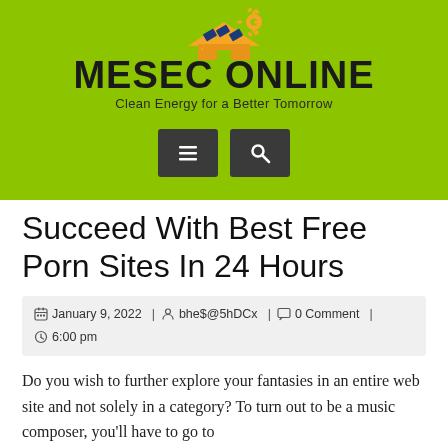[Figure (logo): MESEC ONLINE logo with solar panel house icon and gear, on lime green background. Tagline: Clean Energy for a Better Tomorrow. Navigation buttons (menu and search) below.]
Succeed With Best Free Porn Sites In 24 Hours
January 9, 2022 | bhe$@5hDCx | 0 Comment | 6:00 pm
Do you wish to further explore your fantasies in an entire web site and not solely in a category? To turn out to be a music composer, you'll have to go to